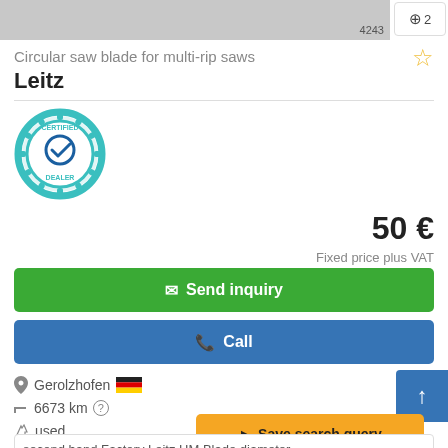[Figure (photo): Partial product image of circular saw blade, cropped at top]
Circular saw blade for multi-rip saws
Leitz
[Figure (illustration): Certified Dealer badge/seal with checkmark]
50 €
Fixed price plus VAT
Send inquiry
Call
Gerolzhofen
6673 km
used
Save search query
second hand Factory Leitz HM Blade diameter